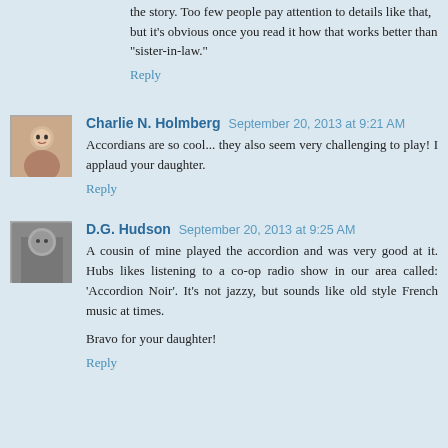the story. Too few people pay attention to details like that, but it's obvious once you read it how that works better than "sister-in-law."
Reply
Charlie N. Holmberg  September 20, 2013 at 9:21 AM
Accordians are so cool... they also seem very challenging to play! I applaud your daughter.
Reply
D.G. Hudson  September 20, 2013 at 9:25 AM
A cousin of mine played the accordion and was very good at it. Hubs likes listening to a co-op radio show in our area called: 'Accordion Noir'. It's not jazzy, but sounds like old style French music at times.

Bravo for your daughter!
Reply